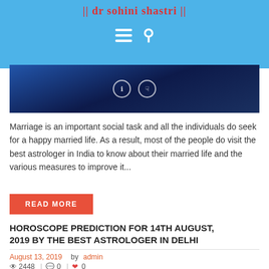|| dr sohini shastri ||
[Figure (photo): Dark blue interior corridor/hallway photo with two circular overlay icons in the center]
Marriage is an important social task and all the individuals do seek for a happy married life. As a result, most of the people do visit the best astrologer in India to know about their married life and the various measures to improve it...
READ MORE
HOROSCOPE PREDICTION FOR 14TH AUGUST, 2019 BY THE BEST ASTROLOGER IN DELHI
August 13, 2019   by admin
2448  |  0  |  0